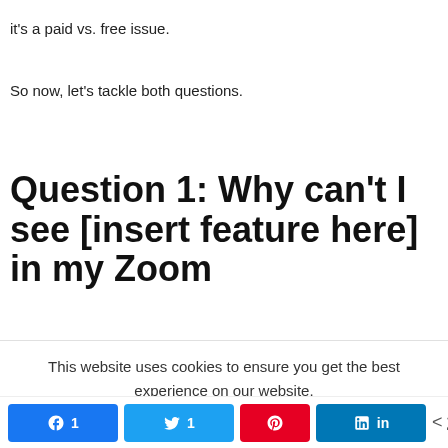it's a paid vs. free issue.
So now, let's tackle both questions.
Question 1: Why can't I see [insert feature here] in my Zoom
This website uses cookies to ensure you get the best experience on our website.
Learn more
Got It!
Facebook 1  Twitter 1  Pinterest  LinkedIn  < 2 SHARES